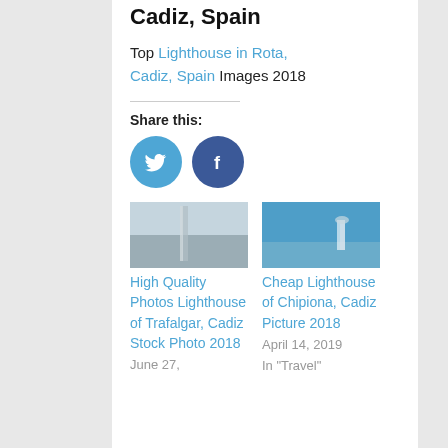Cadiz, Spain
Top Lighthouse in Rota, Cadiz, Spain Images 2018
Share this:
[Figure (illustration): Twitter bird icon in blue circle and Facebook 'f' icon in dark blue circle — social sharing buttons]
[Figure (photo): Two related article thumbnails: left shows lighthouse of Trafalgar Cadiz; right shows lighthouse of Chipiona Cadiz]
High Quality Photos Lighthouse of Trafalgar, Cadiz Stock Photo 2018 June 27,
Cheap Lighthouse of Chipiona, Cadiz Picture 2018 April 14, 2019 In "Travel"